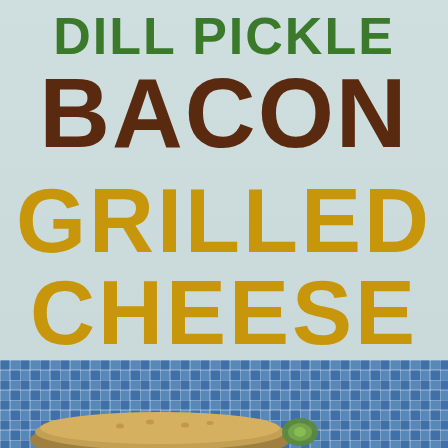DILL PICKLE BACON GRILLED CHEESE
[Figure (photo): Photo of a dill pickle bacon grilled cheese sandwich on a blue and white checkered cloth/napkin, viewed from above, partially visible at the bottom of the image.]